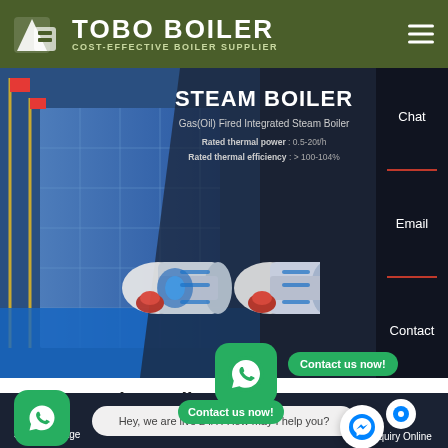TOBO BOILER — COST-EFFECTIVE BOILER SUPPLIER
[Figure (screenshot): Banner showing steam boiler products with building background, text overlay: STEAM BOILER, Gas(Oil) Fired Integrated Steam Boiler, Rated thermal power: 0.5-20t/h, Rated thermal efficiency: >100-104%]
20 Ton Dealer Boiler Machine rbaijan
Chat
Email
Contact
Contact us now!
Contact us now!
Send Message | Hey, we are live 24/7. How may I help you? | Inquiry Online